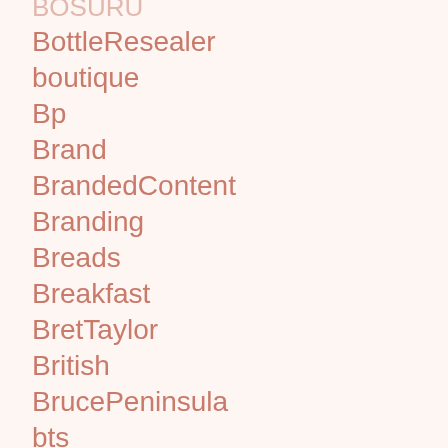BOSURU
BottleResealer
boutique
Bp
Brand
BrandedContent
Branding
Breads
Breakfast
BretTaylor
British
BrucePeninsula
bts
BuildOverGarageDoorStorage
BurnerPhone